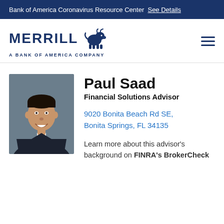Bank of America Coronavirus Resource Center  See Details
[Figure (logo): Merrill Lynch bull logo with text MERRILL A BANK OF AMERICA COMPANY and hamburger menu icon]
[Figure (photo): Professional headshot of Paul Saad, a man in a dark suit with tie, smiling, grey background]
Paul Saad
Financial Solutions Advisor
9020 Bonita Beach Rd SE,
Bonita Springs, FL 34135
Learn more about this advisor's background on FINRA's BrokerCheck